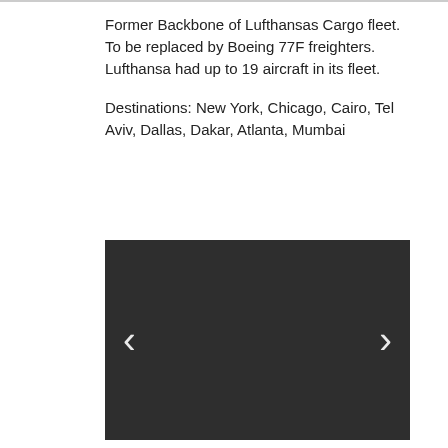Former Backbone of Lufthansas Cargo fleet. To be replaced by Boeing 77F freighters. Lufthansa had up to 19 aircraft in its fleet.
Destinations: New York, Chicago, Cairo, Tel Aviv, Dallas, Dakar, Atlanta, Mumbai
[Figure (screenshot): Dark grey image slideshow area with white left and right navigation arrows on each side]